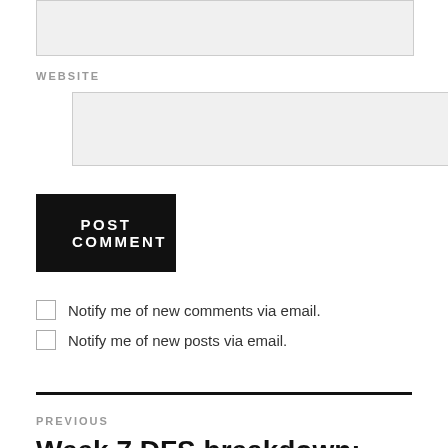[Figure (other): Text input box (empty, light gray background)]
WEBSITE
[Figure (other): Website text input box (empty, light gray background)]
POST COMMENT
Notify me of new comments via email.
Notify me of new posts via email.
PREVIOUS
Week 7 DFS breakdown: Alert